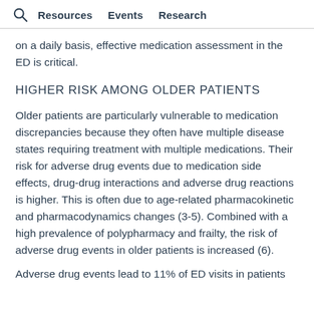Resources  Events  Research
on a daily basis, effective medication assessment in the ED is critical.
HIGHER RISK AMONG OLDER PATIENTS
Older patients are particularly vulnerable to medication discrepancies because they often have multiple disease states requiring treatment with multiple medications. Their risk for adverse drug events due to medication side effects, drug-drug interactions and adverse drug reactions is higher. This is often due to age-related pharmacokinetic and pharmacodynamics changes (3-5). Combined with a high prevalence of polypharmacy and frailty, the risk of adverse drug events in older patients is increased (6).
Adverse drug events lead to 11% of ED visits in patients